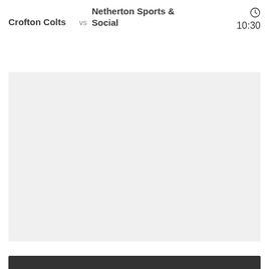Crofton Colts vs Netherton Sports & Social 10:30
[Figure (other): Gray placeholder box for match content area]